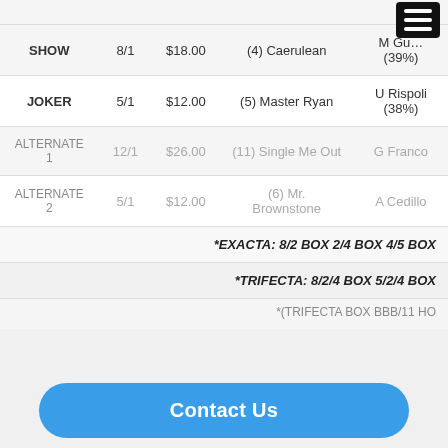| Bet Type | Odds | Price | Horse | Jockey |
| --- | --- | --- | --- | --- |
|  |  |  |  | (41%) |
| SHOW | 8/1 | $18.00 | (4) Caerulean | M Gu...
(39%) |
| JOKER | 5/1 | $12.00 | (5) Master Ryan | U Rispoli
(38%) |
| ALTERNATE 1 | 12/1 | $26.00 | (11) Single Me Out | G Franco |
| ALTERNATE 2 | 5/1 | $12.00 | (6) Mr. Brownstone | A Cedillo |
*EXACTA: 8/2 BOX 2/4 BOX 4/5 BOX
*TRIFECTA: 8/2/4 BOX 5/2/4 BOX
Contact Us